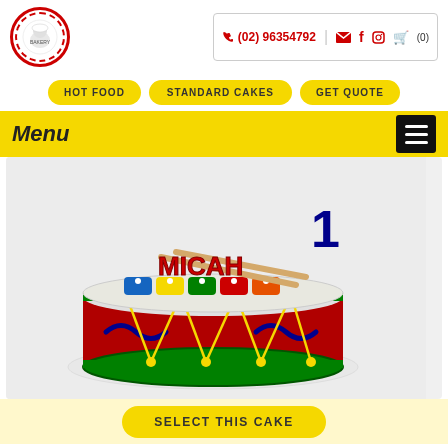[Figure (logo): Circular bakery/chef logo with red dashed border and chef illustration]
(02) 96354792
[Figure (infographic): Contact icons: phone, email, facebook, instagram, cart with (0)]
HOT FOOD
STANDARD CAKES
GET QUOTE
Menu
[Figure (photo): Birthday cake decorated as a toy drum with 'MICAH' lettering and number 1 topper, colorful xylophone-style decoration on top]
SELECT THIS CAKE